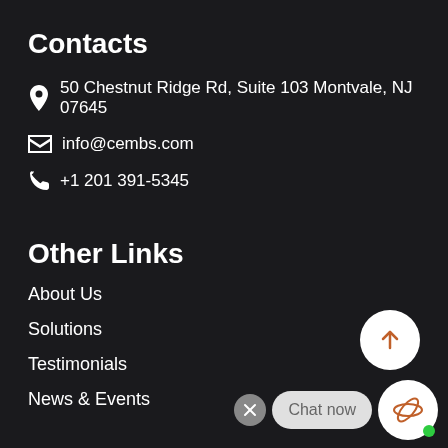Contacts
50 Chestnut Ridge Rd, Suite 103 Montvale, NJ 07645
info@cembs.com
+1 201 391-5345
Other Links
About Us
Solutions
Testimonials
News & Events
[Figure (illustration): White circle button with upward arrow (scroll to top button)]
[Figure (illustration): Chat widget with close button, 'Chat now' bubble, and circular logo icon with green online dot]